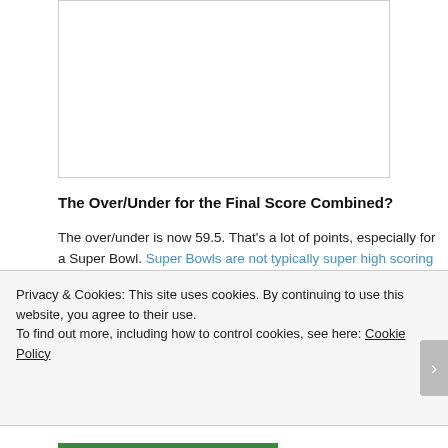[Figure (other): Empty white box with border, likely an advertisement or image placeholder]
The Over/Under for the Final Score Combined?
The over/under is now 59.5. That's a lot of points, especially for a Super Bowl. Super Bowls are not typically super high scoring games. 59.5 points is a lot. The Seahawks put up 43 in their win over the Bronocos in Super Bowl 48, but the Broncos only had 8, so they wouldn't have even hit that number. The last time game to eclipse 60 points was Super Bowl 47, when the Ravens beat the 49ers 34-31. I definitely
Privacy & Cookies: This site uses cookies. By continuing to use this website, you agree to their use.
To find out more, including how to control cookies, see here: Cookie Policy
Close and accept